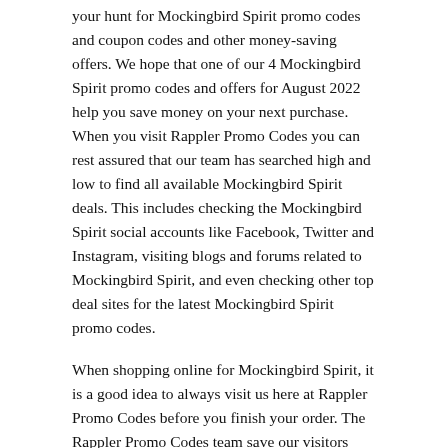your hunt for Mockingbird Spirit promo codes and coupon codes and other money-saving offers. We hope that one of our 4 Mockingbird Spirit promo codes and offers for August 2022 help you save money on your next purchase. When you visit Rappler Promo Codes you can rest assured that our team has searched high and low to find all available Mockingbird Spirit deals. This includes checking the Mockingbird Spirit social accounts like Facebook, Twitter and Instagram, visiting blogs and forums related to Mockingbird Spirit, and even checking other top deal sites for the latest Mockingbird Spirit promo codes.
When shopping online for Mockingbird Spirit, it is a good idea to always visit us here at Rappler Promo Codes before you finish your order. The Rappler Promo Codes team save our visitors thousands of pesos every month, many of which never knew Mockingbird Spirit promo codes were available until visiting our site. Now that you know how easy it is to save at Mockingbird Spirit with our promo and coupon codes, bookmark Rappler